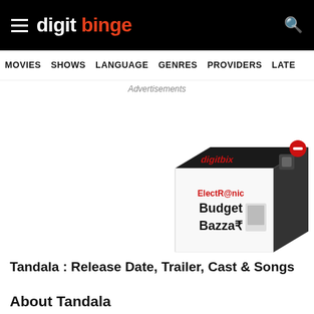digit binge
MOVIES   SHOWS   LANGUAGE   GENRES   PROVIDERS   LATE
Advertisements
[Figure (photo): Advertisement box showing 'ElectR@nic Budget Bazza₹' with a 3D box product graphic and a red minus/close button]
Tandala : Release Date, Trailer, Cast & Songs
About Tandala